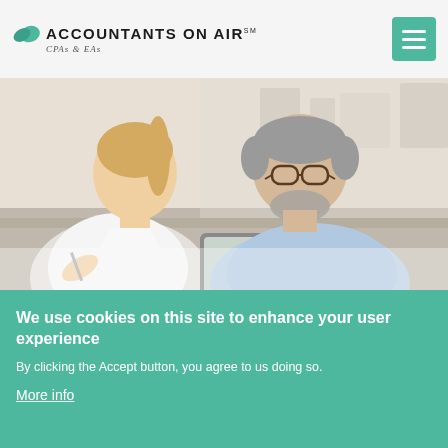[Figure (logo): Accountants on Air logo with green leaf icon and SM mark, subtitle CPAs & EAs]
[Figure (photo): Two professionals, a young blonde woman and an older man with glasses, looking at a tablet together in a bright office setting]
We use cookies on this site to enhance your user experience
By clicking the Accept button, you agree to us doing so.
More info